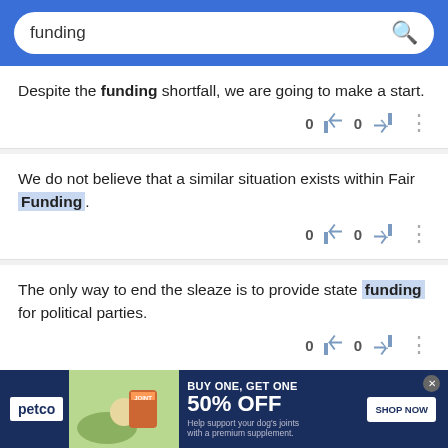[Figure (screenshot): Search bar with blue background showing 'funding' query with magnifier icon]
Despite the funding shortfall, we are going to make a start.
We do not believe that a similar situation exists within Fair Funding.
The only way to end the sleaze is to provide state funding for political parties.
Here the tale gets even more sordid with shady
[Figure (infographic): Petco advertisement: BUY ONE, GET ONE 50% OFF - Help support your dog's joints with a premium supplement. SHOP NOW button. Shows woman with dog and supplement bottle.]